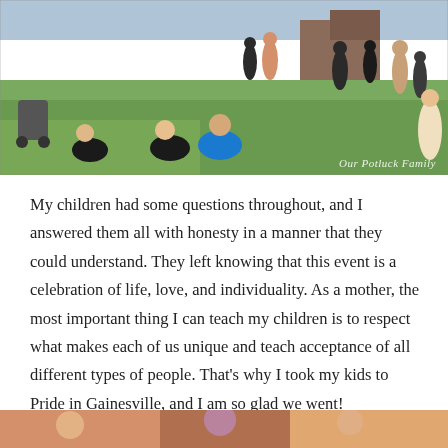[Figure (photo): Outdoor event photo showing people sitting and standing on grass at what appears to be a Pride festival in Gainesville. Several people visible, some sitting on the grass in the foreground. A watermark reads 'Our Potluck Family' in the bottom right corner.]
My children had some questions throughout, and I answered them all with honesty in a manner that they could understand. They left knowing that this event is a celebration of life, love, and individuality. As a mother, the most important thing I can teach my children is to respect what makes each of us unique and teach acceptance of all different types of people. That's why I took my kids to Pride in Gainesville, and I am so glad we went!
[Figure (photo): Partial photo visible at bottom of page, appears to show people at the same outdoor event, cropped.]